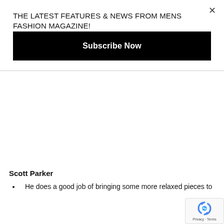THE LATEST FEATURES & NEWS FROM MENS FASHION MAGAZINE!
Subscribe Now
Scott Parker
He does a good job of bringing some more relaxed pieces to